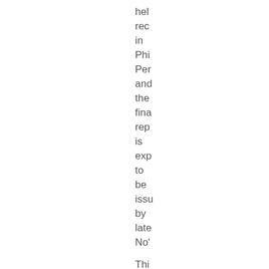hel rec in Phi Per and the fina rep is exp to be issu by late No' Thi late PE ass upo the